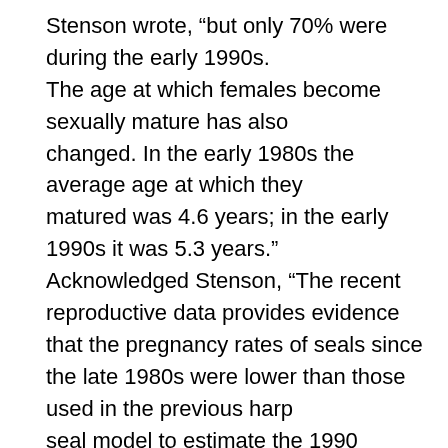Stenson wrote, “but only 70% were during the early 1990s. The age at which females become sexually mature has also changed. In the early 1980s the average age at which they matured was 4.6 years; in the early 1990s it was 5.3 years.” Acknowledged Stenson, “The recent reproductive data provides evidence that the pregnancy rates of seals since the late 1980s were lower than those used in the previous harp seal model to estimate the 1990 population. Incorporating these new reproductive data into the current model has a major influence on our estimate of 1990 population. The